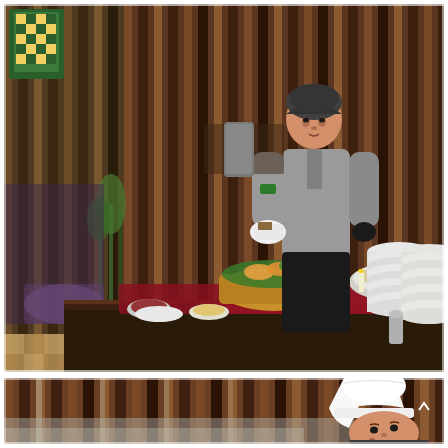[Figure (photo): Indoor restaurant buffet scene. A person wearing a grey chef uniform and dark headscarf stands behind a long dark buffet table. On the table are various food items including a wicker basket with food on banana leaves, bowls of sauces and dishes, a large bowl of salad or noodles, and a tall stack of white plates on the right. The background features vertical wooden slat walls and green plants. The floor has a patterned tile.]
[Figure (photo): Close-up partial view of a chef wearing a white chef's hat, looking downward. The background shows vertical wooden slat walls with light filtering through, creating a striped pattern of warm brown tones.]